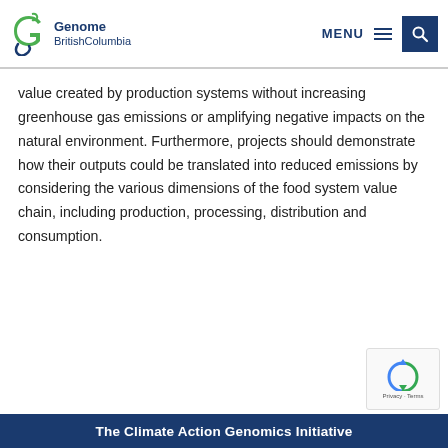Genome British Columbia | MENU | Search
value created by production systems without increasing greenhouse gas emissions or amplifying negative impacts on the natural environment. Furthermore, projects should demonstrate how their outputs could be translated into reduced emissions by considering the various dimensions of the food system value chain, including production, processing, distribution and consumption.
[Figure (logo): reCAPTCHA badge with Privacy and Terms]
The Climate Action Genomics Initiative